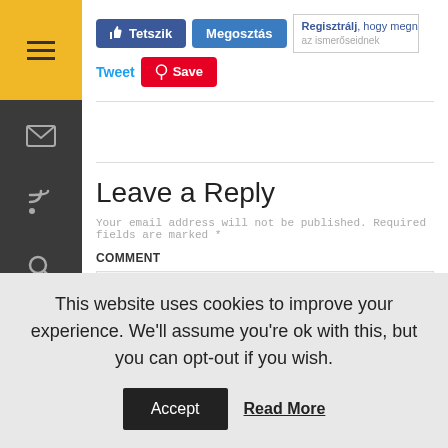[Figure (screenshot): Dark sidebar with yellow top section containing a hamburger menu icon, and icons for email, RSS feed, search, and settings below]
[Figure (screenshot): Social sharing buttons: Tetszik (Facebook Like), Megosztás (Facebook Share), popup text 'Regisztrálj, hogy megnézd, mi tetszik az ismerőseidnek', Tweet link, Save (Pinterest) button]
Leave a Reply
Your email address will not be published. Required fields are marked *
COMMENT
This website uses cookies to improve your experience. We'll assume you're ok with this, but you can opt-out if you wish.